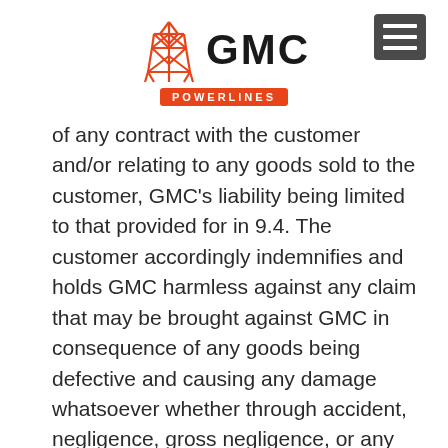[Figure (logo): GMC Powerlines logo with orange power tower icon and orange POWERLINES badge, plus dark hamburger menu icon in top right]
of any contract with the customer and/or relating to any goods sold to the customer, GMC's liability being limited to that provided for in 9.4. The customer accordingly indemnifies and holds GMC harmless against any claim that may be brought against GMC in consequence of any goods being defective and causing any damage whatsoever whether through accident, negligence, gross negligence, or any other cause.
10. BREACH